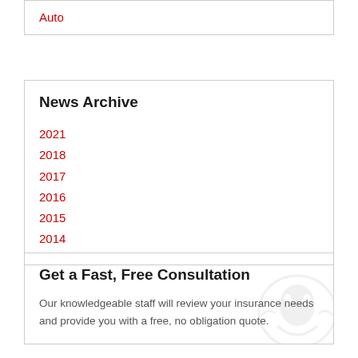Auto
News Archive
2021
2018
2017
2016
2015
2014
Get a Fast, Free Consultation
Our knowledgeable staff will review your insurance needs and provide you with a free, no obligation quote.